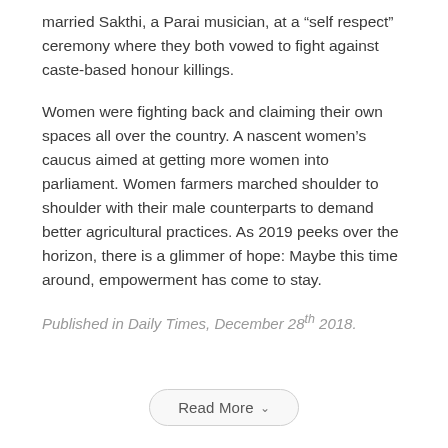married Sakthi, a Parai musician, at a “self respect” ceremony where they both vowed to fight against caste-based honour killings.
Women were fighting back and claiming their own spaces all over the country. A nascent women’s caucus aimed at getting more women into parliament. Women farmers marched shoulder to shoulder with their male counterparts to demand better agricultural practices. As 2019 peeks over the horizon, there is a glimmer of hope: Maybe this time around, empowerment has come to stay.
Published in Daily Times, December 28th 2018.